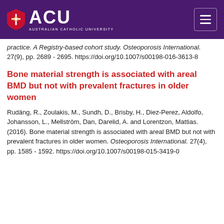ACU - Australian Catholic University
practice. A Registry-based cohort study. Osteoporosis International. 27(9), pp. 2689 - 2695. https://doi.org/10.1007/s00198-016-3613-8
Bone material strength is associated with areal BMD but not with prevalent fractures in older women
Rudäng, R., Zoulakis, M., Sundh, D., Brisby, H., Diez-Perez, Aldolfo, Johansson, L., Mellström, Dan, Darelid, A. and Lorentzon, Mattias. (2016). Bone material strength is associated with areal BMD but not with prevalent fractures in older women. Osteoporosis International. 27(4), pp. 1585 - 1592. https://doi.org/10.1007/s00198-015-3419-0